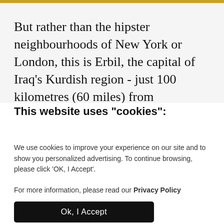But rather than the hipster neighbourhoods of New York or London, this is Erbil, the capital of Iraq's Kurdish region - just 100 kilometres (60 miles) from the area where the main ISIS fighters from…
This website uses "cookies":
We use cookies to improve your experience on our site and to show you personalized advertising. To continue browsing, please click 'OK, I Accept'.
For more information, please read our Privacy Policy
Ok, I Accept